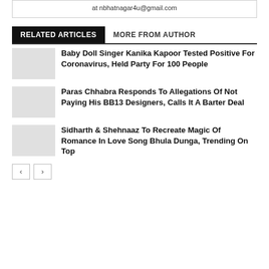at nbhatnagar4u@gmail.com
RELATED ARTICLES   MORE FROM AUTHOR
Baby Doll Singer Kanika Kapoor Tested Positive For Coronavirus, Held Party For 100 People
Paras Chhabra Responds To Allegations Of Not Paying His BB13 Designers, Calls It A Barter Deal
Sidharth & Shehnaaz To Recreate Magic Of Romance In Love Song Bhula Dunga, Trending On Top